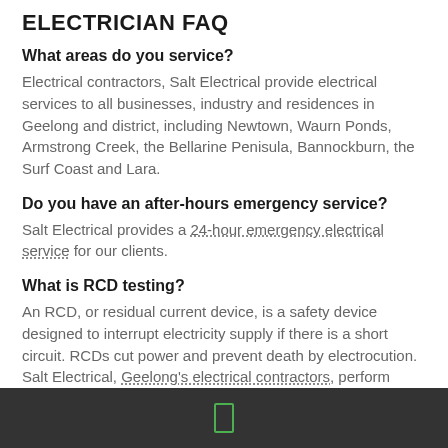ELECTRICIAN FAQ
What areas do you service?
Electrical contractors, Salt Electrical provide electrical services to all businesses, industry and residences in Geelong and district, including Newtown, Waurn Ponds, Armstrong Creek, the Bellarine Penisula, Bannockburn, the Surf Coast and Lara.
Do you have an after-hours emergency service?
Salt Electrical provides a 24-hour emergency electrical service for our clients.
What is RCD testing?
An RCD, or residual current device, is a safety device designed to interrupt electricity supply if there is a short circuit. RCDs cut power and prevent death by electrocution. Salt Electrical, Geelong's electrical contractors, perform RCD testing to ensure the device is operating correctly and is keeping you, your family and work mates safe.